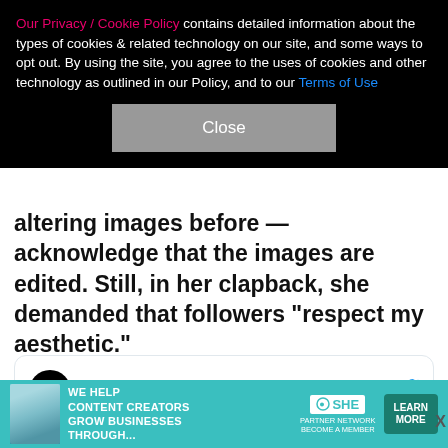Our Privacy / Cookie Policy contains detailed information about the types of cookies & related technology on our site, and some ways to opt out. By using the site, you agree to the uses of cookies and other technology as outlined in our Policy, and to our Terms of Use
altering images before — acknowledge that the images are edited. Still, in her clapback, she demanded that followers "respect my aesthetic."
[Figure (screenshot): Embedded Twitter/X post by @ViralMaterials with a profile avatar, Follow button, Twitter bird icon, and a video thumbnail showing a close-up face image with a 'Watch on Twitter' badge]
[Figure (infographic): Advertisement banner for SHE Partner Network: 'We Help Content Creators Grow Businesses Through...' with Learn More button]